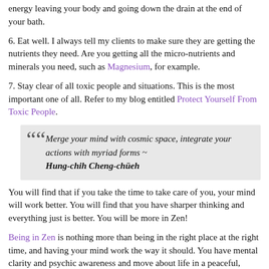energy leaving your body and going down the drain at the end of your bath.
6. Eat well. I always tell my clients to make sure they are getting the nutrients they need. Are you getting all the micro-nutrients and minerals you need, such as Magnesium, for example.
7. Stay clear of all toxic people and situations. This is the most important one of all. Refer to my blog entitled Protect Yourself From Toxic People.
Merge your mind with cosmic space, integrate your actions with myriad forms ~ Hung-chih Cheng-chüeh
You will find that if you take the time to take care of you, your mind will work better. You will find that you have sharper thinking and everything just is better. You will be more in Zen!
Being in Zen is nothing more than being in the right place at the right time, and having your mind work the way it should. You have mental clarity and psychic awareness and move about life in a peaceful, relaxed way. Your communications with people are